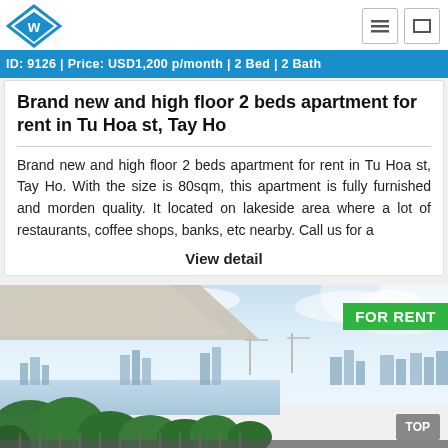ID: 9126 | Price: USD1,200 p/month | 2 Bed | 2 Bath
Brand new and high floor 2 beds apartment for rent in Tu Hoa st, Tay Ho
Brand new and high floor 2 beds apartment for rent in Tu Hoa st, Tay Ho. With the size is 80sqm, this apartment is fully furnished and morden quality. It located on lakeside area where a lot of restaurants, coffee shops, banks, etc nearby. Call us for a
View detail
[Figure (photo): High floor apartment view overlooking lakeside cityscape with trees, water, and city buildings in background. FOR RENT badge in top right.]